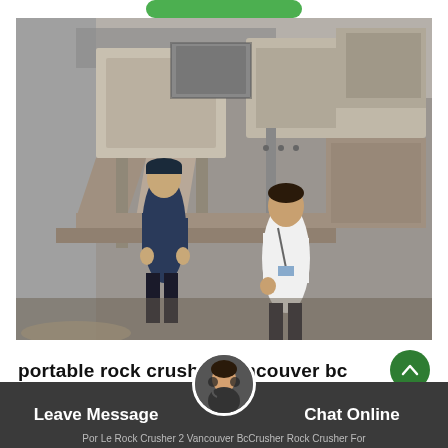[Figure (photo): Two workers standing in front of large industrial rock crushing machinery inside a warehouse/factory setting. Heavy equipment with conveyors and hoppers visible.]
portable rock crusher vancouver bc
Leave Message
Chat Online
Por Le Rock Crusher 2 Vancouver BcCrusher Rock Crusher For